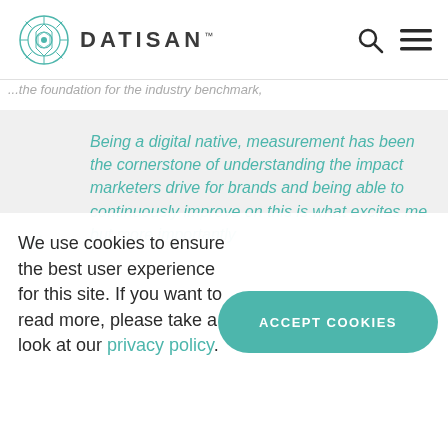DATISAN
...the foundation for the industry benchmark,
Being a digital native, measurement has been the cornerstone of understanding the impact marketers drive for brands and being able to continuously improve on this is what excites me but more importantly
We use cookies to ensure the best user experience for this site. If you want to read more, please take a look at our privacy policy.